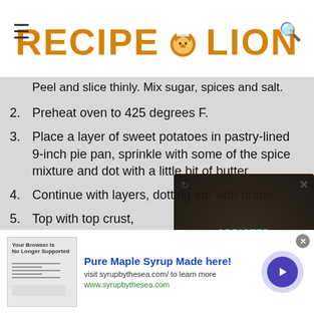RECIPE LION
Peel and slice thinly. Mix sugar, spices and salt.
2. Preheat oven to 425 degrees F.
3. Place a layer of sweet potatoes in pastry-lined 9-inch pie pan, sprinkle with some of the spice mixture and dot with a little bit of butter.
4. Continue with layers, dotting top with butter.
5. Top with top crust,
6. Bake for 30-40 minutes, reduce temperature baking until they are done.
[Figure (screenshot): Video overlay showing 'ADDICTED AMISH STYLE APPLESAUCE CAKE' with dark background]
[Figure (screenshot): Advertisement banner for Pure Maple Syrup from syrupbythesea.com]